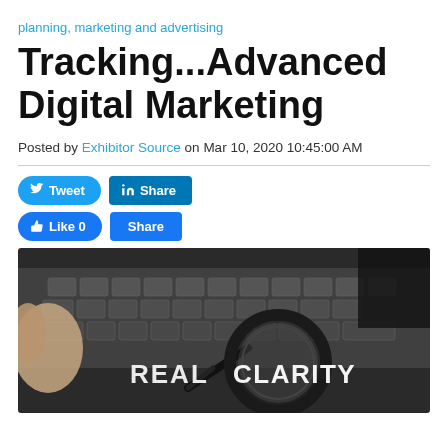planning, marketing and advertising
Tracking...Advanced Digital Marketing
Posted by Exhibitor Source on Mar 10, 2020 10:45:00 AM
[Figure (photo): Photo of a magnifying glass held over a laptop keyboard, with white text overlay reading 'REAL CLARITY']